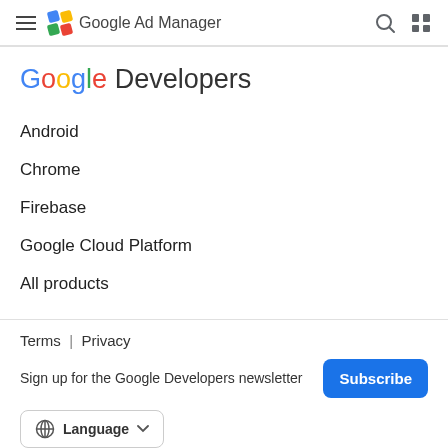Google Ad Manager
Google Developers
Android
Chrome
Firebase
Google Cloud Platform
All products
Terms  |  Privacy
Sign up for the Google Developers newsletter
Subscribe
Language